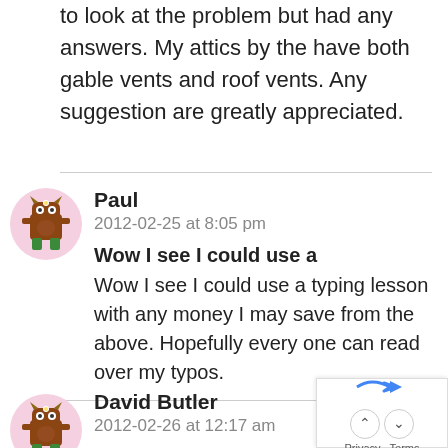to look at the problem but had any answers. My attics by the have both gable vents and roof vents. Any suggestion are greatly appreciated.
Paul
2012-02-25 at 8:05 pm
Wow I see I could use a
Wow I see I could use a typing lesson with any money I may save from the above. Hopefully every one can read over my typos.
David Butler
2012-02-26 at 12:17 am